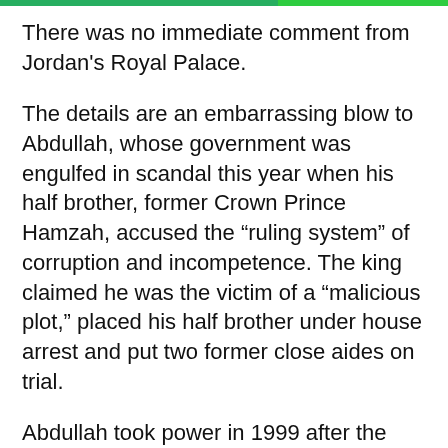There was no immediate comment from Jordan's Royal Palace.
The details are an embarrassing blow to Abdullah, whose government was engulfed in scandal this year when his half brother, former Crown Prince Hamzah, accused the “ruling system” of corruption and incompetence. The king claimed he was the victim of a “malicious plot,” placed his half brother under house arrest and put two former close aides on trial.
Abdullah took power in 1999 after the